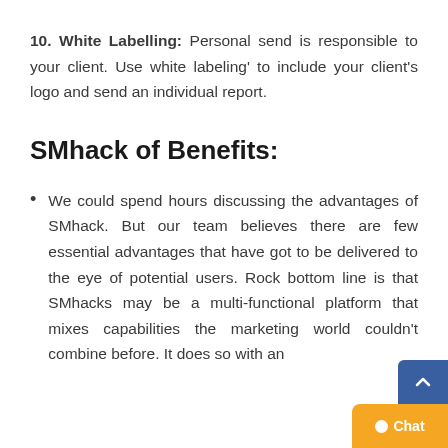10. White Labelling: Personal send is responsible to your client. Use white labeling' to include your client's logo and send an individual report.
SMhack of Benefits:
We could spend hours discussing the advantages of SMhack. But our team believes there are few essential advantages that have got to be delivered to the eye of potential users. Rock bottom line is that SMhacks may be a multi-functional platform that mixes capabilities the marketing world couldn't combine before. It does so with an